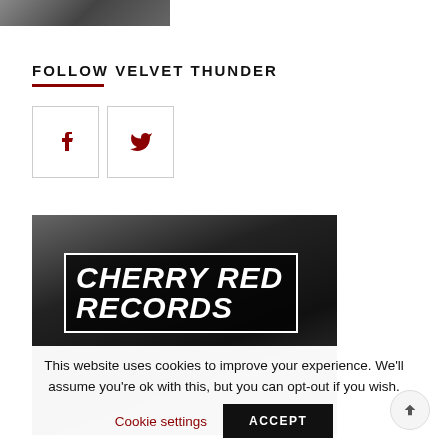[Figure (photo): Partial top edge of a photo showing people, cropped at top of page]
FOLLOW VELVET THUNDER
[Figure (illustration): Facebook icon (f) in a bordered square box]
[Figure (illustration): Twitter bird icon in a bordered square box]
[Figure (photo): Black and white photo showing a Cherry Red Records sign with bold italic white text on dark background]
This website uses cookies to improve your experience. We'll assume you're ok with this, but you can opt-out if you wish.
Cookie settings
ACCEPT